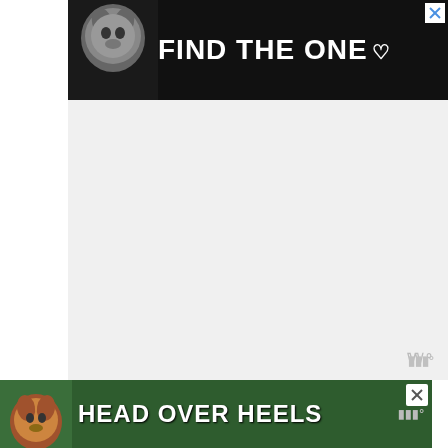[Figure (other): Advertisement banner at top: dark background with dog image and text 'FIND THE ONE' with heart symbol]
[Figure (other): Large white/grey advertisement placeholder block in middle section with watermark symbol]
This skill is also amazing. When you launch a rally on a stronghold or city you will get a huge boost of 40% attack. On top of that, you have a 30% chance to dispel any current active weakening effect
Holy Tree's Blessing
Passive Skill Reduces all damage taken by 10%. While on the map, reduces all damage taken when surrounded (bonus reduction = number of surrounding enemies...
[Figure (other): Advertisement banner at bottom: green background with dog image and text 'HEAD OVER HEELS' with close button]